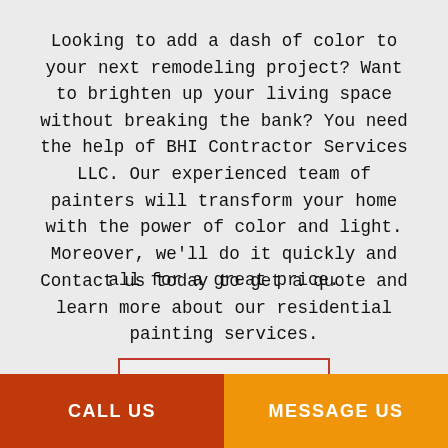Looking to add a dash of color to your next remodeling project? Want to brighten up your living space without breaking the bank? You need the help of BHI Contractor Services LLC. Our experienced team of painters will transform your home with the power of color and light. Moreover, we'll do it quickly and all for a great price.
Contact us today to get a quote and learn more about our residential painting services.
LEARN MORE
CALL US
MESSAGE US